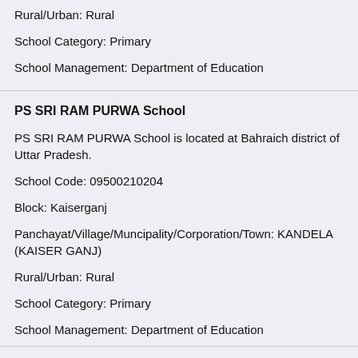Rural/Urban: Rural
School Category: Primary
School Management: Department of Education
PS SRI RAM PURWA School
PS SRI RAM PURWA School is located at Bahraich district of Uttar Pradesh.
School Code: 09500210204
Block: Kaiserganj
Panchayat/Village/Muncipality/Corporation/Town: KANDELA (KAISER GANJ)
Rural/Urban: Rural
School Category: Primary
School Management: Department of Education